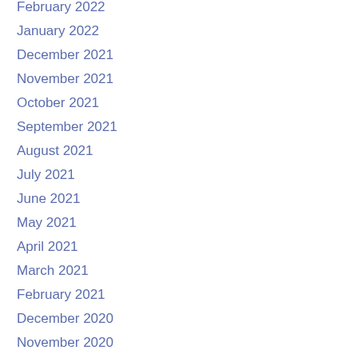February 2022
January 2022
December 2021
November 2021
October 2021
September 2021
August 2021
July 2021
June 2021
May 2021
April 2021
March 2021
February 2021
December 2020
November 2020
October 2020
September 2020